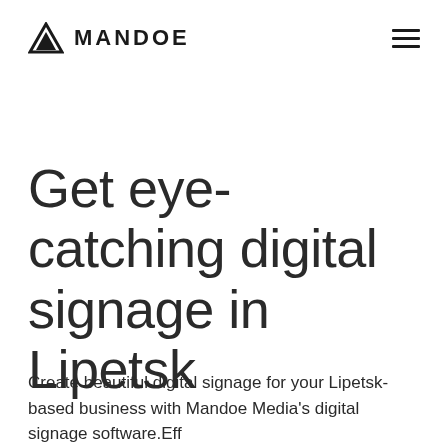MANDOE
Get eye-catching digital signage in Lipetsk
Create beautiful digital signage for your Lipetsk-based business with Mandoe Media's digital signage software.Eff